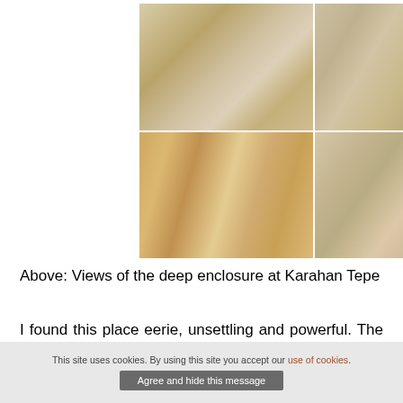[Figure (photo): A 2x2 grid of four photographs showing ancient stone pillars and rock formations at the deep enclosure at Karahan Tepe. Top-left: multiple rounded-top stone pillars among rocky terrain. Top-right: close-up of several cylindrical stone pillars. Bottom-left: tall stone pillars carved out of bedrock, viewed from below. Bottom-right: view of large upright stone pillars in a rocky enclosure.]
Above: Views of the deep enclosure at Karahan Tepe
I found this place eerie, unsettling and powerful. The enclosure itself is entirely cut down into and carved out of solid bedrock. Ten of the pillars
This site uses cookies. By using this site you accept our use of cookies. Agree and hide this message